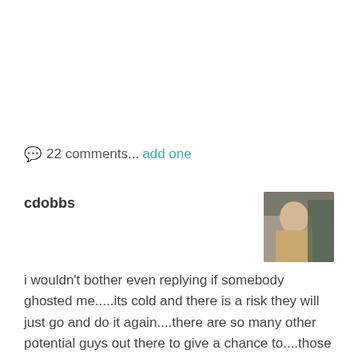💬 22 comments... add one
cdobbs
i wouldn't bother even replying if somebody ghosted me.....its cold and there is a risk they will just go and do it again....there are so many other potential guys out there to give a chance to....those guys that are cowards and pull the disappearing act don't deserve the time of day....my opinion and how i would handle it